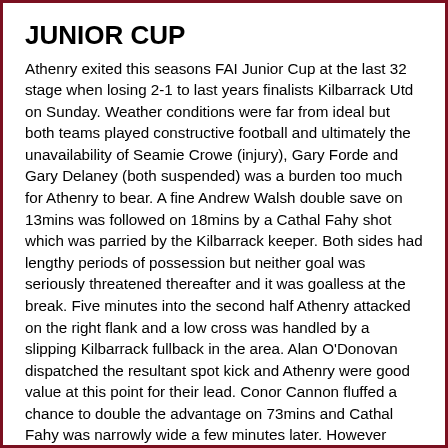JUNIOR CUP
Athenry exited this seasons FAI Junior Cup at the last 32 stage when losing 2-1 to last years finalists Kilbarrack Utd on Sunday. Weather conditions were far from ideal but both teams played constructive football and ultimately the unavailability of Seamie Crowe (injury), Gary Forde and Gary Delaney (both suspended) was a burden too much for Athenry to bear. A fine Andrew Walsh double save on 13mins was followed on 18mins by a Cathal Fahy shot which was parried by the Kilbarrack keeper. Both sides had lengthy periods of possession but neither goal was seriously threatened thereafter and it was goalless at the break. Five minutes into the second half Athenry attacked on the right flank and a low cross was handled by a slipping Kilbarrack fullback in the area. Alan O'Donovan dispatched the resultant spot kick and Athenry were good value at this point for their lead. Conor Cannon fluffed a chance to double the advantage on 73mins and Cathal Fahy was narrowly wide a few minutes later. However Kilbarrack continued to threaten and when Athenry failed to clear a corner on 82mins the Kilbarrack no 9 nodded home at the far post to level